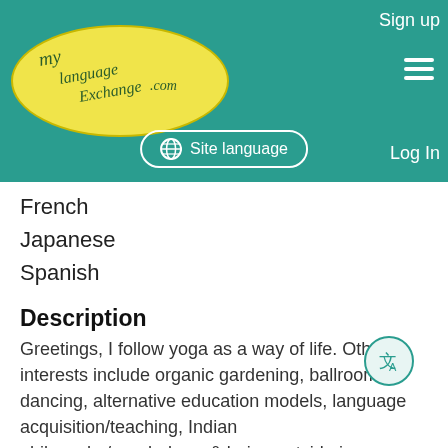Sign up  Site language  Log In
[Figure (logo): MyLanguageExchange.com logo — yellow oval with cursive text]
French
Japanese
Spanish
Description
Greetings, I follow yoga as a way of life. Other interests include organic gardening, ballroom dancing, alternative education models, language acquisition/teaching, Indian philosophy/psychology, & being outside in Nature. insta shri.yogendra.shishya For leisure, I enjoy reading fiction & literature, along with comics & children's books, and art/world cinema. I would lik... See more
Name
[Figure (illustration): Yellow smiley face emoji]